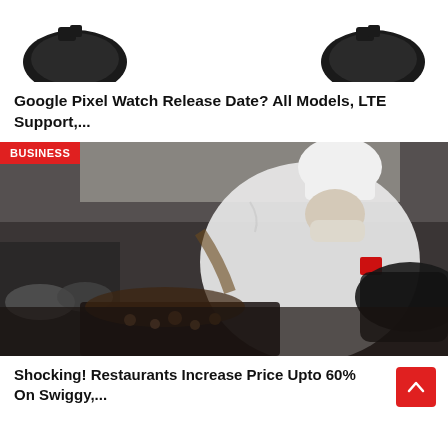[Figure (photo): Partial top view of two dark smartwatches on white background]
Google Pixel Watch Release Date? All Models, LTE Support,...
[Figure (photo): Chef in white coat and face mask cooking in a restaurant kitchen, with BUSINESS badge overlay]
Shocking! Restaurants Increase Price Upto 60% On Swiggy,...